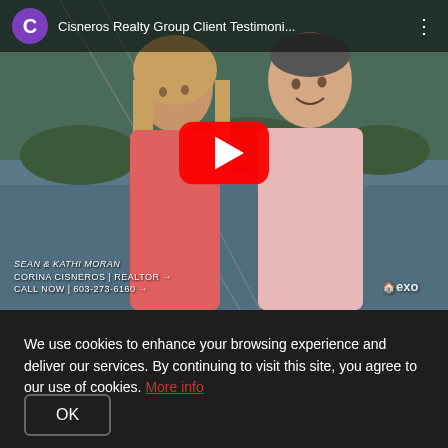[Figure (screenshot): YouTube video thumbnail showing a couple (man and woman) standing outdoors near water with a YouTube play button overlay. Top bar shows YouTube UI with purple 'C' avatar icon and title 'Cisneros Realty Group Client Testimoni...' with vertical dots menu. Bottom overlay text reads: 'SEAN & KATHI MORAN', 'CORINA CISNEROS | REALTOR →', 'CALL NOW | 603-273-6160 →'. EXO logo appears bottom right.]
We use cookies to enhance your browsing experience and deliver our services. By continuing to visit this site, you agree to our use of cookies. More info
OK